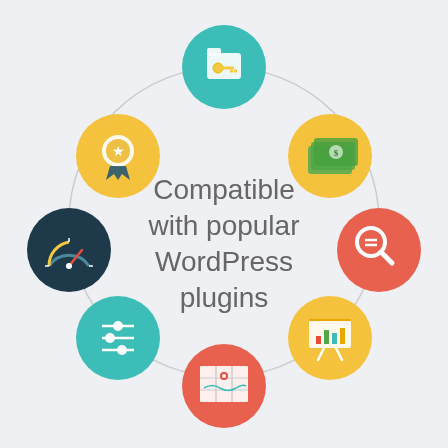[Figure (infographic): Circle of 7 colorful icons (teal folder with key at top, yellow award medal top-left, yellow money bills top-right, dark teal speedometer left, red-orange magnifying glass right, teal sliders bottom-left, yellow bar chart bottom-right, red-orange map bottom-center) arranged around a thin gray circle, with center text 'Compatible with popular WordPress plugins' on a light gray background.]